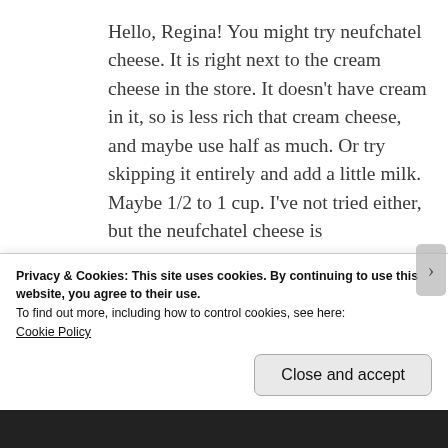Hello, Regina! You might try neufchatel cheese. It is right next to the cream cheese in the store. It doesn't have cream in it, so is less rich that cream cheese, and maybe use half as much. Or try skipping it entirely and add a little milk. Maybe 1/2 to 1 cup. I've not tried either, but the neufchatel cheese is interchangeable with cream cheese in recipes and I grew up on milk-based potato soup, so I'm sure either will work
Privacy & Cookies: This site uses cookies. By continuing to use this website, you agree to their use.
To find out more, including how to control cookies, see here:
Cookie Policy
Close and accept